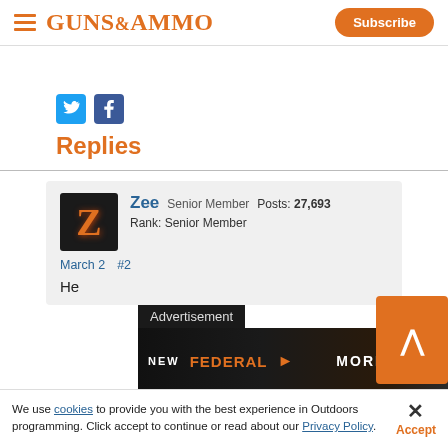GUNS&AMMO | Subscribe
[Figure (logo): Guns & Ammo logo with hamburger menu icon on left and Subscribe button on right]
[Figure (infographic): Twitter and Facebook social share icons]
Replies
Zee Senior Member Posts: 27,693 Rank: Senior Member March 2 #2 He
[Figure (infographic): Advertisement banner: NEW FEDERAL MORE HITS.]
We use cookies to provide you with the best experience in Outdoors programming. Click accept to continue or read about our Privacy Policy.